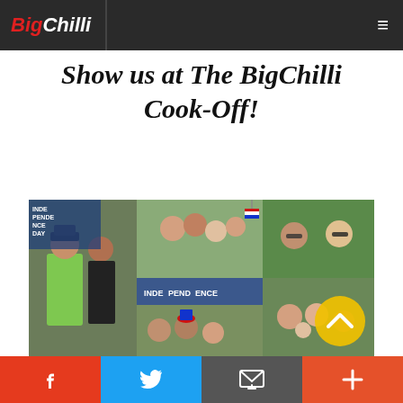BigChilli
Show us at The BigChilli Cook-Off!
[Figure (photo): Collage of photos from The BigChilli Cook-Off event at NIST International School, Saturday July 2. Shows groups of people at what appears to be an Independence Day themed outdoor event. A red circle badge reads 'Saturday July 2 at NIST International School'. A gold circle button with an upward chevron is visible in the lower right.]
Facebook | Twitter | Email | More